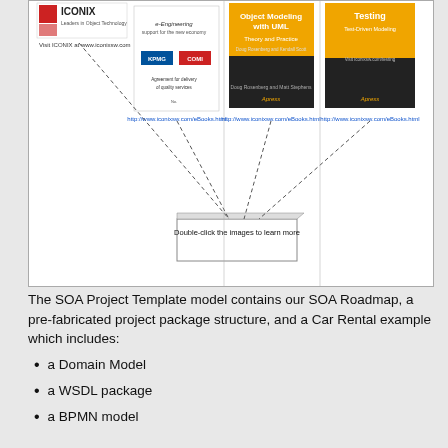[Figure (infographic): Diagram showing ICONIX logo and book covers (Object Modeling with UML, Testing) connected by dashed lines to a central box labeled 'Double-click the images to learn more'. Book URLs shown as http://www.iconixsw.com/eBooks.html]
The SOA Project Template model contains our SOA Roadmap, a pre-fabricated project package structure, and a Car Rental example which includes:
a Domain Model
a WSDL package
a BPMN model